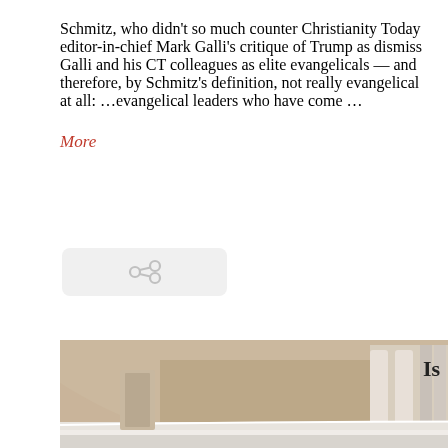Schmitz, who didn't so much counter Christianity Today editor-in-chief Mark Galli's critique of Trump as dismiss Galli and his CT colleagues as elite evangelicals — and therefore, by Schmitz's definition, not really evangelical at all: …evangelical leaders who have come … More
[Figure (other): A share/link icon button with light grey rounded rectangle background]
[Figure (photo): Interior of a church showing a chandelier, pipe organ with white columns, curved balcony railing with white trim, and beige/tan walls and ceiling]
Is